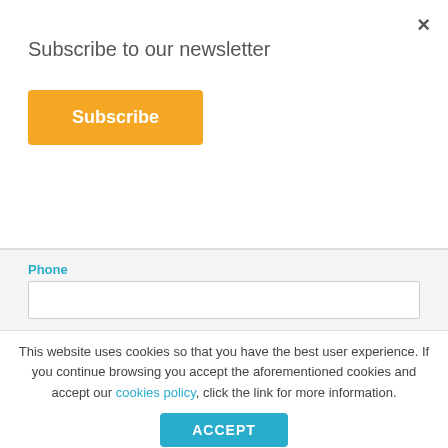×
Subscribe to our newsletter
Subscribe
Phone
Subject (optional)
Message *
This website uses cookies so that you have the best user experience. If you continue browsing you accept the aforementioned cookies and accept our cookies policy, click the link for more information.
ACCEPT